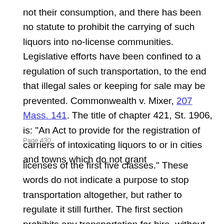not their consumption, and there has been no statute to prohibit the carrying of such liquors into no-license communities. Legislative efforts have been confined to a regulation of such transportation, to the end that illegal sales or keeping for sale may be prevented. Commonwealth v. Mixer, 207 Mass. 141. The title of chapter 421, St. 1906, is: "An Act to provide for the registration of carriers of intoxicating liquors to or in cities and towns which do not grant
Page 430
licenses of the first five classes." These words do not indicate a purpose to stop transportation altogether, but rather to regulate it still further. The first section prohibits any transportation for hire, without a permit except by a railroad or street railway. In the light of the